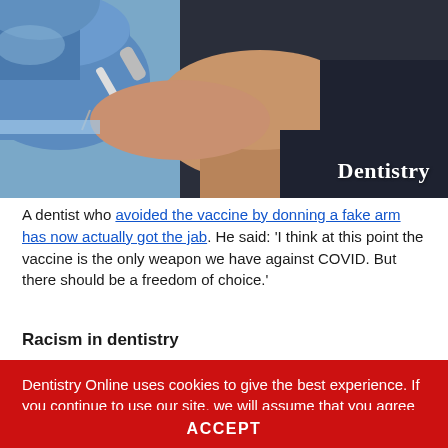[Figure (photo): A healthcare worker wearing blue gloves administering an injection/vaccination into a patient's arm. The Dentistry logo appears in white text in the bottom right corner of the image.]
A dentist who avoided the vaccine by donning a fake arm has now actually got the jab. He said: ‘I think at this point the vaccine is the only weapon we have against COVID. But there should be a freedom of choice.’
Racism in dentistry
Dentistry Online uses cookies to give the best experience. If you continue to use our site, we will assume that you agree to the use of such cookies. Read More.
ACCEPT